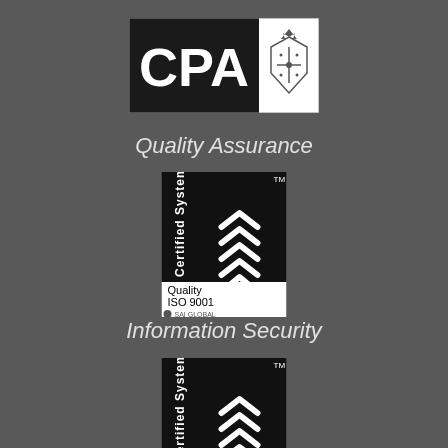[Figure (logo): CPA logo — black rectangle with white 'CPA' text on left, white rectangle with a crest/coat of arms on right]
Quality Assurance
[Figure (logo): SAI Global Certified System badge for Quality ISO 9001 — black rectangle with white 'Certified System' text rotated vertically and white chevron/tick marks, below reads 'Quality ISO 9001' with SAI Global logo]
Information Security
[Figure (logo): SAI Global Certified System badge for Information Security ISO 27001 — black rectangle with white 'Certified System' text rotated vertically and white chevron/tick marks, below reads 'Information Security ISO 27001']